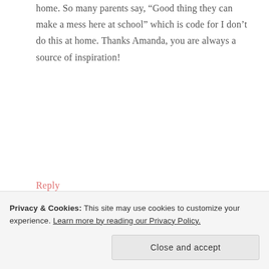home. So many parents say, “Good thing they can make a mess here at school” which is code for I don’t do this at home. Thanks Amanda, you are always a source of inspiration!
Reply
[Figure (photo): Profile photo of a woman with brown hair, smiling]
NOTJUSTCUTE
says
4
Privacy & Cookies: This site may use cookies to customize your experience. Learn more by reading our Privacy Policy.
Close and accept
Such a great tip, Laura! Not only do